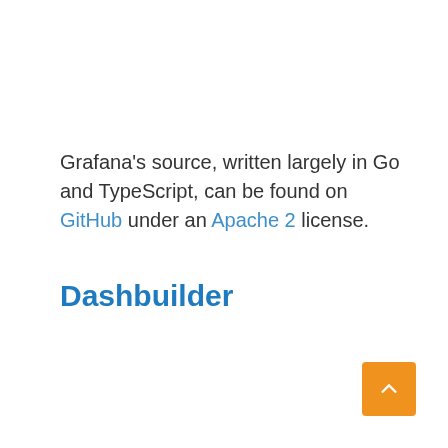Grafana's source, written largely in Go and TypeScript, can be found on GitHub under an Apache 2 license.
Dashbuilder